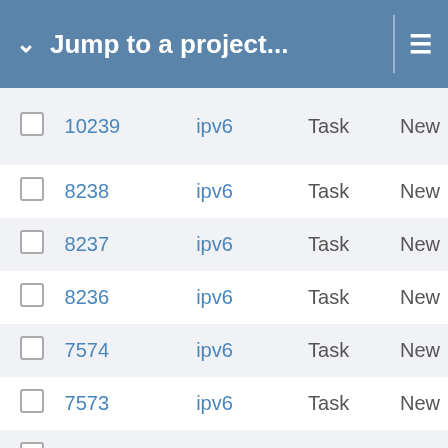Jump to a project...
|  | ID | Project | Type | Status |
| --- | --- | --- | --- | --- |
|  | 10239 | ipv6 | Task | New |
|  | 8238 | ipv6 | Task | New |
|  | 8237 | ipv6 | Task | New |
|  | 8236 | ipv6 | Task | New |
|  | 7574 | ipv6 | Task | New |
|  | 7573 | ipv6 | Task | New |
|  | 7569 | ipv6 | Task | New |
|  | 7568 | ipv6 | Task | New |